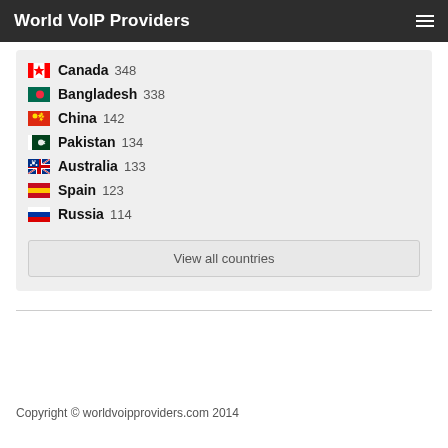World VoIP Providers
Canada 348
Bangladesh 338
China 142
Pakistan 134
Australia 133
Spain 123
Russia 114
View all countries
Copyright © worldvoipproviders.com 2014